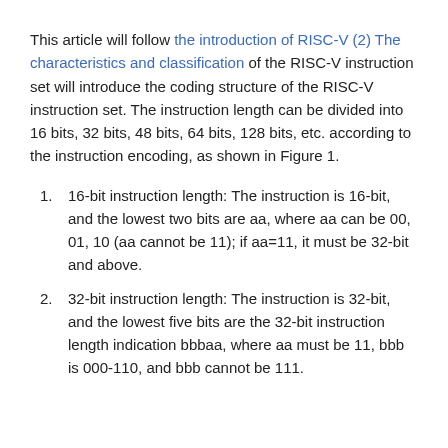This article will follow the introduction of RISC-V (2) The characteristics and classification of the RISC-V instruction set will introduce the coding structure of the RISC-V instruction set. The instruction length can be divided into 16 bits, 32 bits, 48 bits, 64 bits, 128 bits, etc. according to the instruction encoding, as shown in Figure 1.
16-bit instruction length: The instruction is 16-bit, and the lowest two bits are aa, where aa can be 00, 01, 10 (aa cannot be 11); if aa=11, it must be 32-bit and above.
32-bit instruction length: The instruction is 32-bit, and the lowest five bits are the 32-bit instruction length indication bbbaa, where aa must be 11, bbb is 000-110, and bbb cannot be 111.